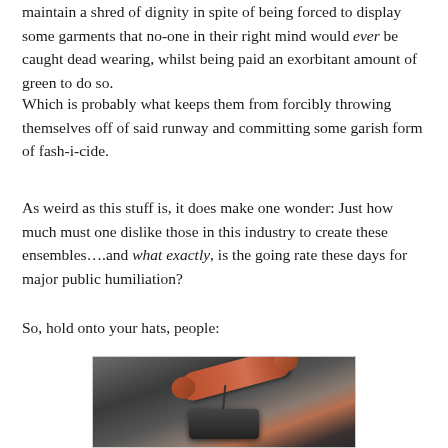maintain a shred of dignity in spite of being forced to display some garments that no-one in their right mind would ever be caught dead wearing, whilst being paid an exorbitant amount of green to do so.
Which is probably what keeps them from forcibly throwing themselves off of said runway and committing some garish form of fash-i-cide.
As weird as this stuff is, it does make one wonder: Just how much must one dislike those in this industry to create these ensembles….and what exactly, is the going rate these days for major public humiliation?
So, hold onto your hats, people:
[Figure (photo): A close-up photograph of what appears to be a retro red telephone handset resting on top of a mechanical or electronic device, with a coiled cord visible, against a blurred dark background.]